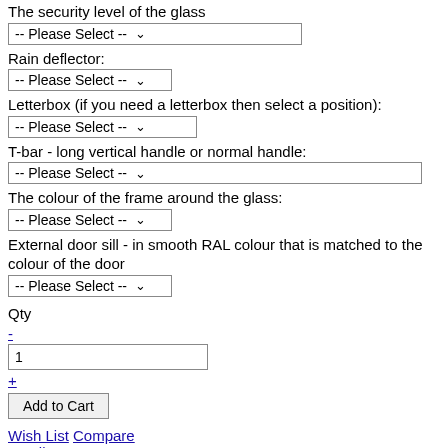The security level of the glass
-- Please Select --
Rain deflector:
-- Please Select --
Letterbox (if you need a letterbox then select a position):
-- Please Select --
T-bar - long vertical handle or normal handle:
-- Please Select --
The colour of the frame around the glass:
-- Please Select --
External door sill - in smooth RAL colour that is matched to the colour of the door
-- Please Select --
Qty
-
1
+
Add to Cart
Wish List Compare Email
Click here to select the configuration
Doors are manufactured after the order has been placed through the